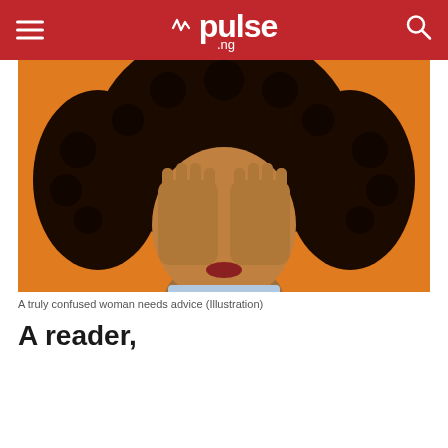pulse .ng
[Figure (photo): A woman with curly dark hair covering her face with both hands against an orange background, illustrating confusion or stress.]
A truly confused woman needs advice (Illustration)
A reader,